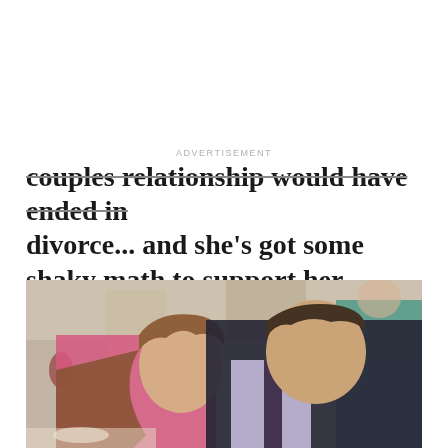couples relationship would have ended in divorce... and she's got some shaky math to support her prediction.
[Figure (photo): A man and woman sitting together at what appears to be a wedding reception or formal event. The woman has auburn hair and is wearing a pink/red top. The man has dark hair and is wearing a dark suit with a purple tie and light purple shirt. Other guests are visible in the blurred background.]